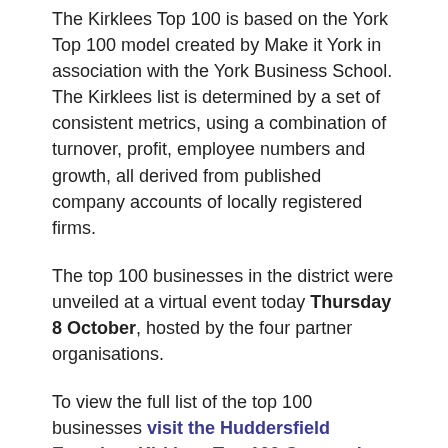The Kirklees Top 100 is based on the York Top 100 model created by Make it York in association with the York Business School. The Kirklees list is determined by a set of consistent metrics, using a combination of turnover, profit, employee numbers and growth, all derived from published company accounts of locally registered firms.
The top 100 businesses in the district were unveiled at a virtual event today Thursday 8 October, hosted by the four partner organisations.
To view the full list of the top 100 businesses visit the Huddersfield Examiner Kirklees Top 100 Companies article.
Councillor Shabir Pandor, Leader, Kirklees Council, said: